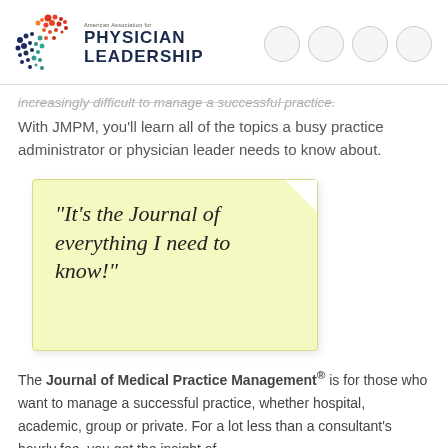[Figure (logo): American Association for Physician Leadership logo with colorful dots and text 'PHYSICIAN LEADERSHIP']
increasingly difficult to manage a successful practice.
With JMPM, you'll learn all of the topics a busy practice administrator or physician leader needs to know about.
“It’s the Journal of everything I need to know!”
The Journal of Medical Practice Management® is for those who want to manage a successful practice, whether hospital, academic, group or private. For a lot less than a consultant's hourly fee, you get the insight of